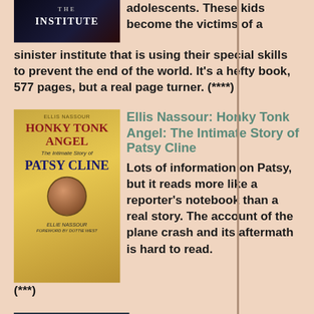adolescents. These kids become the victims of a sinister institute that is using their special skills to prevent the end of the world. It's a hefty book, 577 pages, but a real page turner. (****)
[Figure (illustration): Book cover of 'Honky Tonk Angel: The Intimate Story of Patsy Cline' by Ellis Nassour]
Ellis Nassour: Honky Tonk Angel: The Intimate Story of Patsy Cline
Lots of information on Patsy, but it reads more like a reporter's notebook than a real story. The account of the plane crash and its aftermath is hard to read. (***)
[Figure (illustration): Book cover of 'Night' by Elie Wiesel — top portion showing dark mountainous landscape with the word Night in cursive, and bottom portion showing author name Elie Wiesel]
Elie Wiesel: Night (Night)
Elie Wiesel's masterpiece, a candid, horrific, and deeply poignant